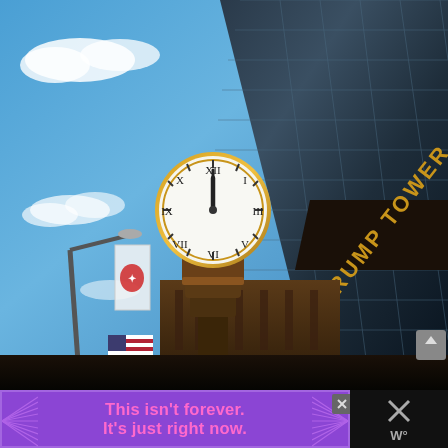[Figure (photo): Low-angle upward photograph of Trump Tower on Fifth Avenue, New York City. A large ornate gold street clock with Roman numerals is prominently displayed in the center, reading approximately 12:00. The glass facade of Trump Tower rises diagonally to the upper right, with 'TRUMP TOWER' lettered in gold on a dark band. Blue sky with scattered white clouds is visible to the left. A street lamp, flag banner, and American flag are visible on the left side.]
[Figure (screenshot): Purple advertisement banner at the bottom of the page. Text reads 'This isn't forever. It's just right now.' in bold pink/magenta lettering on a purple background with decorative radiating lines. A close/dismiss button (X) is visible at the right edge of the ad. To the right of the ad is a dark panel with an X icon and what appears to a weather app icon.]